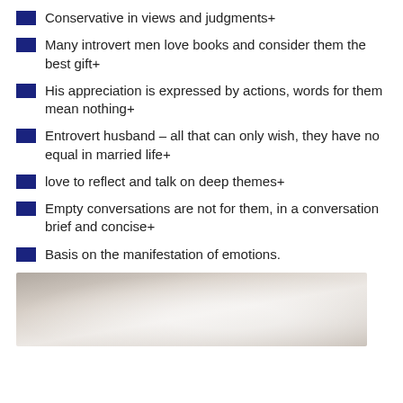Conservative in views and judgments+
Many introvert men love books and consider them the best gift+
His appreciation is expressed by actions, words for them mean nothing+
Entrovert husband – all that can only wish, they have no equal in married life+
love to reflect and talk on deep themes+
Empty conversations are not for them, in a conversation brief and concise+
Basis on the manifestation of emotions.
[Figure (photo): Grayscale photo of hands, partially visible at bottom of page]